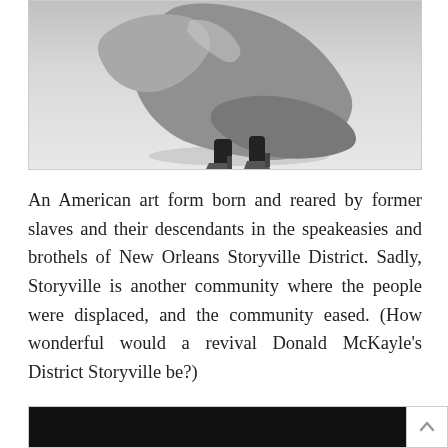[Figure (photo): Black and white photograph of a dancer in motion, showing flowing skirt and heeled shoes from below the waist, dancing pose]
An American art form born and reared by former slaves and their descendants in the speakeasies and brothels of New Orleans Storyville District. Sadly, Storyville is another community where the people were displaced, and the community eased. (How wonderful would a revival Donald McKayle’s District Storyville be?)
[Figure (photo): Bottom portion of another image, partially visible, dark/black content]